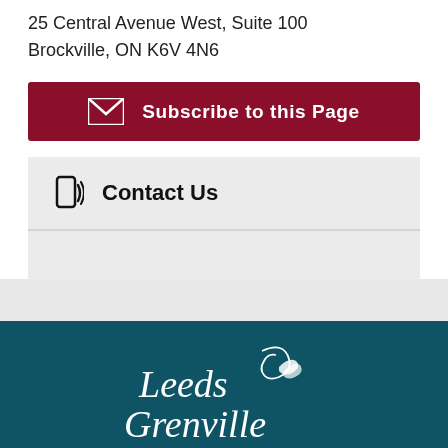25 Central Avenue West, Suite 100
Brockville, ON K6V 4N6
[Figure (other): Dark red button with envelope icon and text 'Subscribe to this Page']
Contact Us
[Figure (logo): Leeds Grenville logo in white on teal background footer]